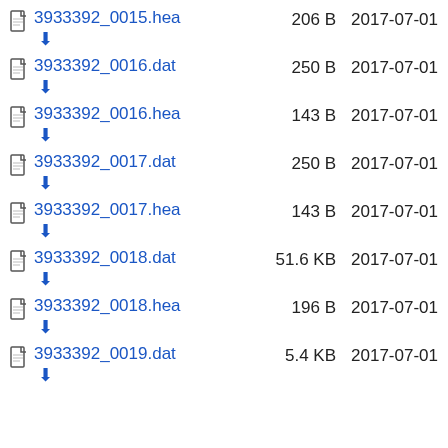3933392_0015.hea  206 B  2017-07-01
3933392_0016.dat  250 B  2017-07-01
3933392_0016.hea  143 B  2017-07-01
3933392_0017.dat  250 B  2017-07-01
3933392_0017.hea  143 B  2017-07-01
3933392_0018.dat  51.6 KB  2017-07-01
3933392_0018.hea  196 B  2017-07-01
3933392_0019.dat  5.4 KB  2017-07-01